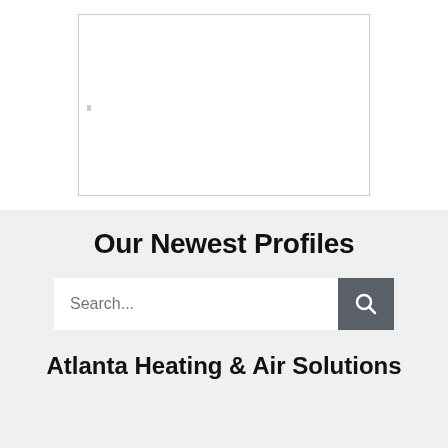[Figure (other): White rectangular box with border on a white background section, with a small gray mark on the left side]
Our Newest Profiles
Search...
Atlanta Heating & Air Solutions